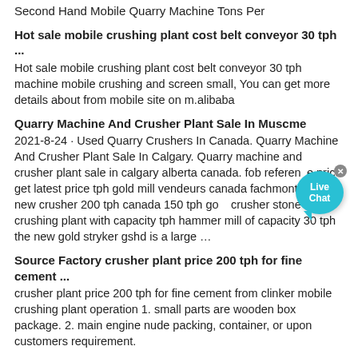Second Hand Mobile Quarry Machine Tons Per
Hot sale mobile crushing plant cost belt conveyor 30 tph ...
Hot sale mobile crushing plant cost belt conveyor 30 tph machine mobile crushing and screen small, You can get more details about from mobile site on m.alibaba
Quarry Machine And Crusher Plant Sale In Muscme
2021-8-24 · Used Quarry Crushers In Canada. Quarry Machine And Crusher Plant Sale In Calgary. Quarry machine and crusher plant sale in calgary alberta canada. fob reference price get latest price tph gold mill vendeurs canada fachmonteureeu new crusher 200 tph canada 150 tph gold crusher stone crushing plant with capacity tph hammer mill of capacity 30 tph the new gold stryker gshd is a large …
Source Factory crusher plant price 200 tph for fine cement ...
crusher plant price 200 tph for fine cement from clinker mobile crushing plant operation 1. small parts are wooden box package. 2. main engine nude packing, container, or upon customers requirement.
Quarry Machine And Crusher Plant Sale In Kemerovo | …
Quarry Machine And Crusher Plant Sale In Kemerovo. quarry machine and crusher plant sale in blantyre 2020-11-24 quarry machine and quarry plant machine for india oman vietnam malaysia small rock crushers for sale 100 200 tph high hard rock crushing plant spngcollege . small rock crusher in